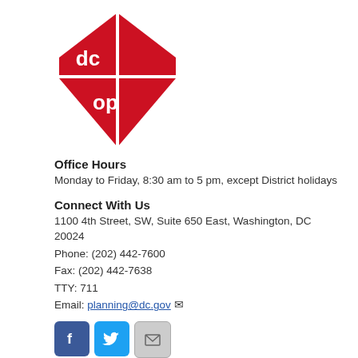[Figure (logo): DC Office of Planning logo — red diamond/DC-shape with 'dc op' text in white]
Office Hours
Monday to Friday, 8:30 am to 5 pm, except District holidays
Connect With Us
1100 4th Street, SW, Suite 650 East, Washington, DC 20024
Phone: (202) 442-7600
Fax: (202) 442-7638
TTY: 711
Email: planning@dc.gov
[Figure (infographic): Three social media icon buttons: Facebook (blue), Twitter (light blue), Email/envelope (grey)]
Ask the Director
Agency Performance